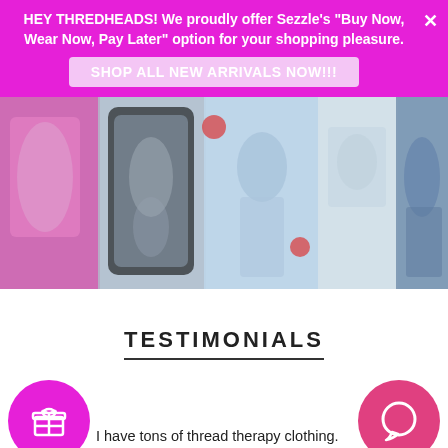HEY THREDHEADS! We proudly offer Sezzle's "Buy Now, Wear Now, Pay Later" option for your shopping pleasure.
SHOP ALL NEW ARRIVALS NOW!!!
[Figure (photo): A blurred collage/strip of fashion product images showing clothing items and models.]
TESTIMONIALS
[Figure (illustration): Magenta circle with a gift/present icon inside.]
[Figure (illustration): Pink circle with a chat/message bubble icon inside.]
I have tons of thread therapy clothing. Very fashion